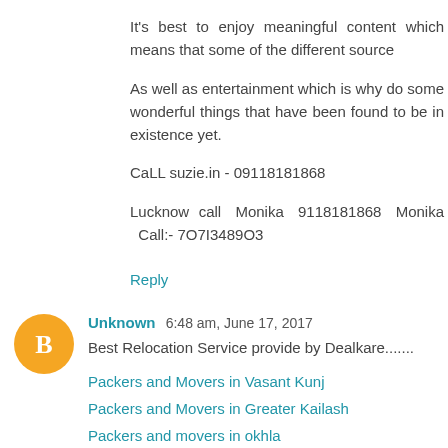It's best to enjoy meaningful content which means that some of the different source
As well as entertainment which is why do some wonderful things that have been found to be in existence yet.
CaLL suzie.in - 09118181868
Lucknow call Monika 9118181868 Monika Call:- 7O7I3489O3
Reply
Unknown 6:48 am, June 17, 2017
Best Relocation Service provide by Dealkare.......
Packers and Movers in Vasant Kunj
Packers and Movers in Greater Kailash
Packers and movers in okhla
Packers and movers in palam vihar
Reply
Unknown 7:12 am, June 17, 2017